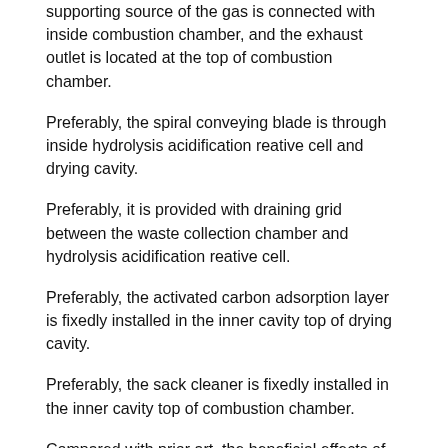supporting source of the gas is connected with inside combustion chamber, and the exhaust outlet is located at the top of combustion chamber.
Preferably, the spiral conveying blade is through inside hydrolysis acidification reative cell and drying cavity.
Preferably, it is provided with draining grid between the waste collection chamber and hydrolysis acidification reative cell.
Preferably, the activated carbon adsorption layer is fixedly installed in the inner cavity top of drying cavity.
Preferably, the sack cleaner is fixedly installed in the inner cavity top of combustion chamber.
Compared with prior art, the beneficial effects of the utility model are¿The novel environmental fixed-end forces device is to rubbish Before carrying out burning treatment, pulverization process is carried out first, make solid refuse tinyization, be convenient for the hydrolysis acidification treatment in later stage And burning treatment, hydrolysis acidification reative cell is hydrolyzed acidification to the organic matter in rubbish, without being sorted to material